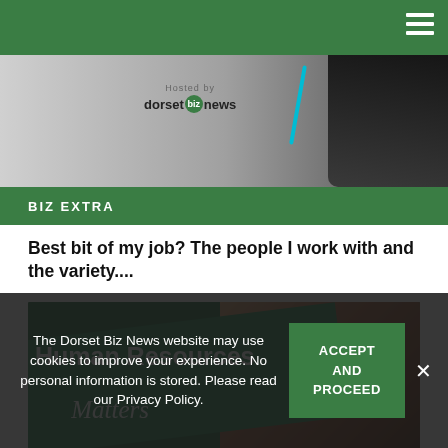[Figure (screenshot): Website screenshot of Dorset Biz News article page showing navigation bar, partial top photo with dorset biz news logo, BIZ EXTRA green band, article title, and Human Resources Matters article photo with woman]
BIZ EXTRA
Best bit of my job? The people I work with and the variety....
[Figure (photo): Photo showing Human Resources Matters banner with woman smiling, partial name Heidi Robin visible at bottom]
The Dorset Biz News website may use cookies to improve your experience. No personal information is stored. Please read our Privacy Policy.
ACCEPT AND PROCEED